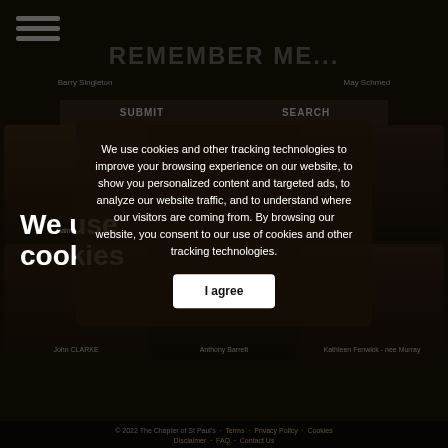[Figure (screenshot): Website screenshot of 'Remember Me' memorial website with cookie consent overlay. Background shows a dark-themed website with hamburger menu, site title 'REMEMBER ME...', person cards grid with names Barry Singleton, May Schmed, Salma Mirza, John Clarke, Anthony Barrett, Kathleen Fenwick - nee Murray. Foreground shows a cookie consent modal with 'We use cookies' large text, cookie policy description, and 'I agree' button.]
We use cookies
We use cookies and other tracking technologies to improve your browsing experience on our website, to show you personalized content and targeted ads, to analyze our website traffic, and to understand where our visitors are coming from. By browsing our website, you consent to our use of cookies and other tracking technologies.
I agree
© 2022 The Chapter of St Paul's · Terms · Privacy Policy · Cookies · Disclaimer · FAQ · Contact Us